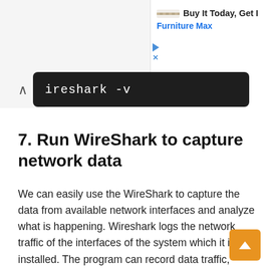[Figure (screenshot): Advertisement banner for Furniture Max with logo, 'Buy It Today, Get It' headline and blue subtitle, with play and close icons]
[Figure (screenshot): Dark terminal/command bar showing the command: wireshark -v]
7. Run WireShark to capture network data
We can easily use the WireShark to capture the data from available network interfaces and analyze what is happening. Wireshark logs the network traffic of the interfaces of the system which it is installed. The program can record data traffic, allowing you to view the content of a